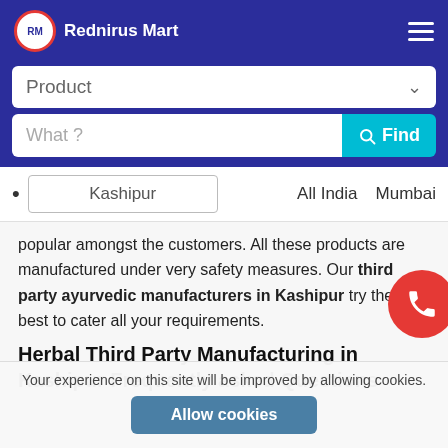[Figure (logo): Rednirus Mart logo with RM in circular badge and hamburger menu icon on dark blue background]
[Figure (screenshot): Product dropdown search bar and What? search input with Find button on blue background]
Kashipur   All India   Mumbai
popular amongst the customers. All these products are manufactured under very safety measures. Our third party ayurvedic manufacturers in Kashipur try their best to cater all your requirements.
Herbal Third Party Manufacturing in Kashipur Frequently asked Questions
Your experience on this site will be improved by allowing cookies.
Allow cookies